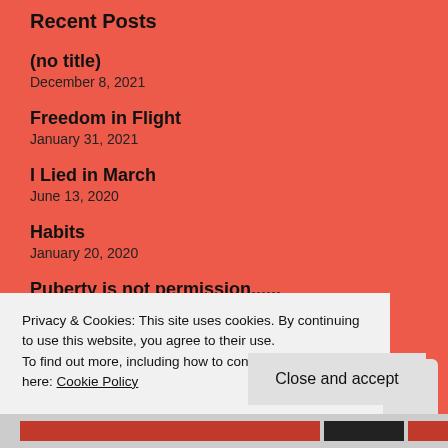Recent Posts
(no title)
December 8, 2021
Freedom in Flight
January 31, 2021
I Lied in March
June 13, 2020
Habits
January 20, 2020
Puberty is not permission......
May 20, 2019
Privacy & Cookies: This site uses cookies. By continuing to use this website, you agree to their use.
To find out more, including how to control cookies, see here: Cookie Policy
Close and accept